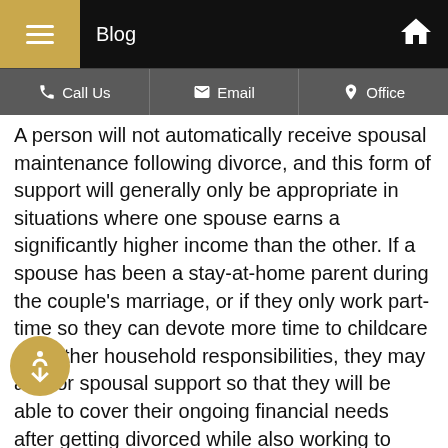Blog
A person will not automatically receive spousal maintenance following divorce, and this form of support will generally only be appropriate in situations where one spouse earns a significantly higher income than the other. If a spouse has been a stay-at-home parent during the couple's marriage, or if they only work part-time so they can devote more time to childcare and other household responsibilities, they may ask for spousal support so that they will be able to cover their ongoing financial needs after getting divorced while also working to ensure that they will be able to support themselves in the future.
A couple may agree that spousal maintenance will be paid when they create a divorce settlement. If an agreement cannot be reached, the party seeking support can ask the judge in their case to decide whether spousal support should